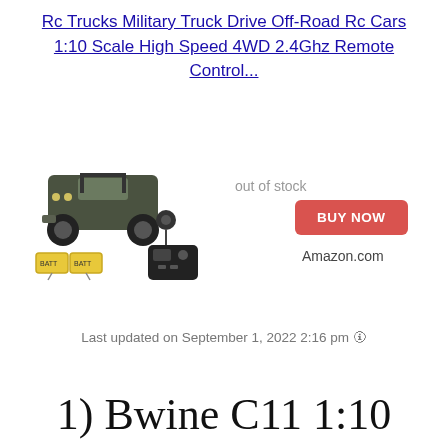Rc Trucks Military Truck Drive Off-Road Rc Cars 1:10 Scale High Speed 4WD 2.4Ghz Remote Control...
[Figure (photo): Photo of RC military truck toy with remote control and two batteries included]
out of stock
BUY NOW
Amazon.com
Last updated on September 1, 2022 2:16 pm 🛈
1) Bwine C11 1:10